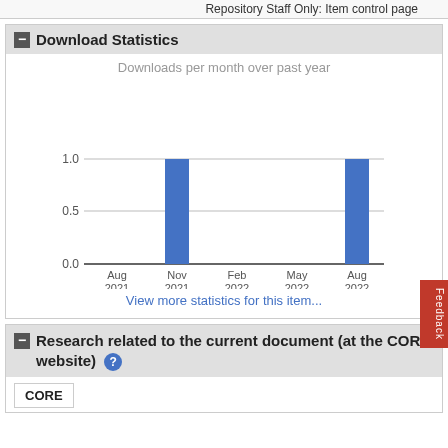Repository Staff Only: Item control page
Download Statistics
[Figure (bar-chart): Downloads per month over past year]
View more statistics for this item...
Research related to the current document (at the CORE website) ?
CORE